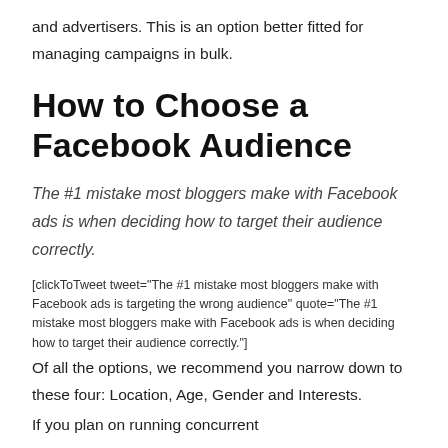and advertisers. This is an option better fitted for managing campaigns in bulk.
How to Choose a Facebook Audience
The #1 mistake most bloggers make with Facebook ads is when deciding how to target their audience correctly.
[clickToTweet tweet="The #1 mistake most bloggers make with Facebook ads is targeting the wrong audience" quote="The #1 mistake most bloggers make with Facebook ads is when deciding how to target their audience correctly."]
Of all the options, we recommend you narrow down to these four: Location, Age, Gender and Interests.
If you plan on running concurrent